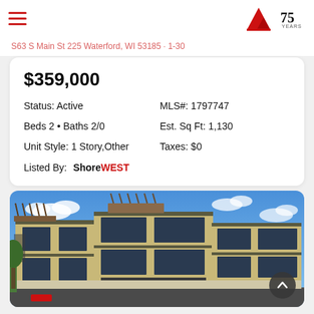ShoreWEST Realtors — 75 Years
[address partially visible] Waterford, WI 53185 · 1-30
$359,000
Status: Active
MLS#: 1797747
Beds 2 • Baths 2/0
Est. Sq Ft: 1,130
Unit Style: 1 Story,Other
Taxes: $0
Listed By: ShoreWEST
[Figure (photo): Exterior architectural rendering of a modern multi-story mixed-use building with tan brick facade, large windows, pergola features, and retail storefronts with SIGNAGE placeholders at ground level]